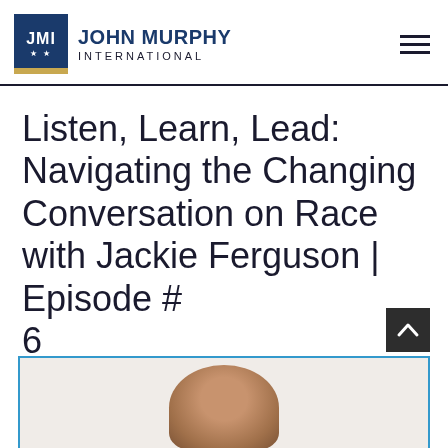JMI JOHN MURPHY INTERNATIONAL
Listen, Learn, Lead: Navigating the Changing Conversation on Race with Jackie Ferguson | Episode # 6
[Figure (photo): Photo of a person's head partially visible at the bottom of a blue-bordered image frame]